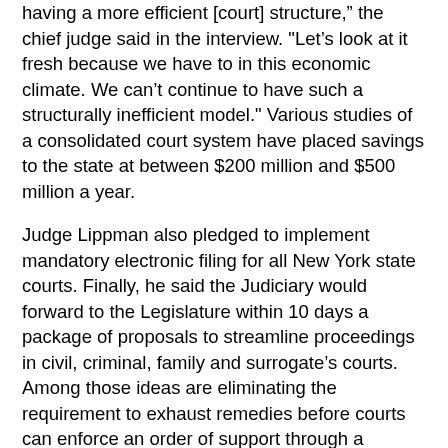having a more efficient [court] structure, the chief judge said in the interview. "Let's look at it fresh because we have to in this economic climate. We can't continue to have such a structurally inefficient model." Various studies of a consolidated court system have placed savings to the state at between $200 million and $500 million a year.
Judge Lippman also pledged to implement mandatory electronic filing for all New York state courts. Finally, he said the Judiciary would forward to the Legislature within 10 days a package of proposals to streamline proceedings in civil, criminal, family and surrogate's courts. Among those ideas are eliminating the requirement to exhaust remedies before courts can enforce an order of support through a contempt proceeding and to elevate the status of part-time city court judges to full-time so they also can serve in Family Court. James Hennerty, deputy director of the Civil Service Employees Association, said yesterday he hopes the court system moves quickly to identify jobs that might be targeted for layoffs. "Obviously, we want to discuss the specifics," Mr. Hennerty said. "We are in a somewhat difficult position. Management has a unilateral right to lay off employees. We